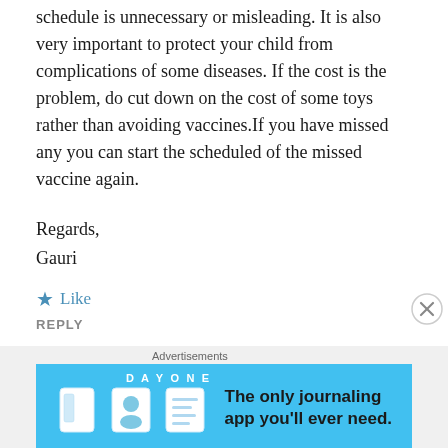schedule is unnecessary or misleading. It is also very important to protect your child from complications of some diseases. If the cost is the problem, do cut down on the cost of some toys rather than avoiding vaccines.If you have missed any you can start the scheduled of the missed vaccine again.
Regards,
Gauri
★ Like
REPLY
Ashutosh Tiwari says:
June 12, 2017 at 2:43 pm
Thanks for the suggestion mam.
★ Like
[Figure (infographic): Day One journaling app advertisement banner with light blue background, app icons, and tagline 'The only journaling app you'll ever need.']